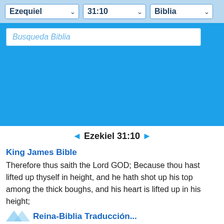Ezequiel  31:10  Biblia
[Figure (screenshot): Search input field with placeholder text 'Busqueda Biblia' on blue background]
◄ Ezekiel 31:10 ►
King James Bible
Therefore thus saith the Lord GOD; Because thou hast lifted up thyself in height, and he hath shot up his top among the thick boughs, and his heart is lifted up in his height;
Reina-Biblia Traducción...